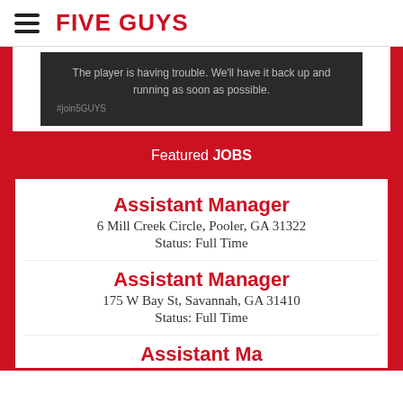FIVE GUYS
[Figure (screenshot): Video player error screen with dark background showing text: 'The player is having trouble. We'll have it back up and running as soon as possible.' and hashtag #join5GUYS]
Featured JOBS
Assistant Manager
6 Mill Creek Circle, Pooler, GA 31322
Status: Full Time
Assistant Manager
175 W Bay St, Savannah, GA 31410
Status: Full Time
Assistant Manager